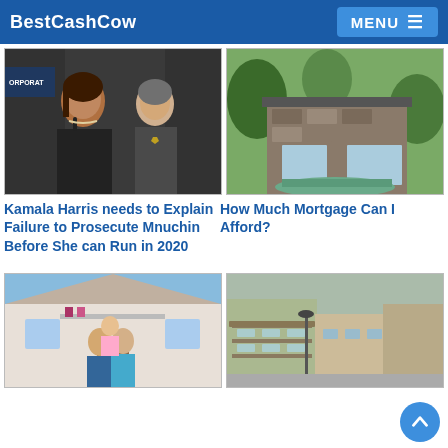BestCashCow   MENU
[Figure (photo): Two women at a podium, one speaking into a microphone, another in a police uniform standing behind]
Kamala Harris needs to Explain Failure to Prosecute Mnuchin Before She can Run in 2020
[Figure (photo): Modern house with stone facade, large windows and landscaped garden]
How Much Mortgage Can I Afford?
[Figure (photo): Family of three (man, woman, child) posing in front of a large suburban house]
[Figure (photo): Street view of New Orleans French Quarter style buildings with balconies]